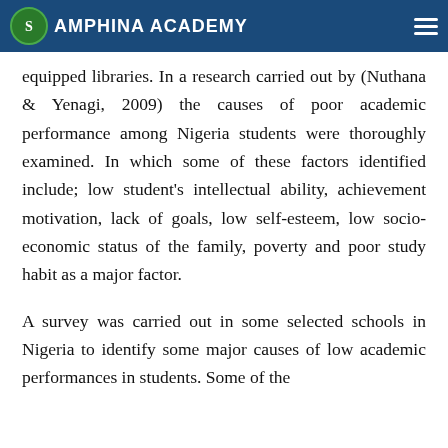AMPHINA ACADEMY
state of mind, conducive and suitable environment studying, availability of textbooks and well equipped libraries. In a research carried out by (Nuthana & Yenagi, 2009) the causes of poor academic performance among Nigeria students were thoroughly examined. In which some of these factors identified include; low student's intellectual ability, achievement motivation, lack of goals, low self-esteem, low socio-economic status of the family, poverty and poor study habit as a major factor.
A survey was carried out in some selected schools in Nigeria to identify some major causes of low academic performances in students. Some of the